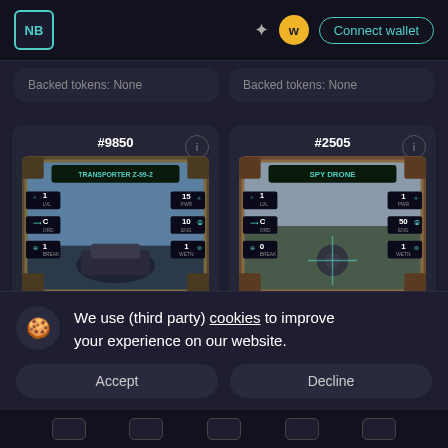NB | Connect wallet
Backed tokens: None
Backed tokens: None
[Figure (illustration): NFT game card #9850 - TRANSPORTER Z-99-2 with stats: LVL 1, PWR 15, ORD C, ENG 10, BREAK 1, WETN 1]
[Figure (illustration): NFT game card #2505 - SPY DRONE with stats: LVL 1, PWR 1, ORD C, ENG 50, BREAK 0, WETN 1]
We use (third party) cookies to improve your experience on our website.
Accept
Decline